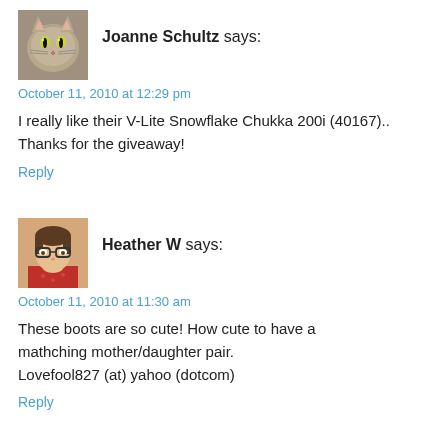[Figure (photo): Avatar image of a cat (grey tabby face)]
Joanne Schultz says:
October 11, 2010 at 12:29 pm
I really like their V-Lite Snowflake Chukka 200i (40167).. Thanks for the giveaway!
Reply
[Figure (photo): Avatar image of a woman with glasses and red top]
Heather W says:
October 11, 2010 at 11:30 am
These boots are so cute! How cute to have a mathching mother/daughter pair. Lovefool827 (at) yahoo (dotcom)
Reply